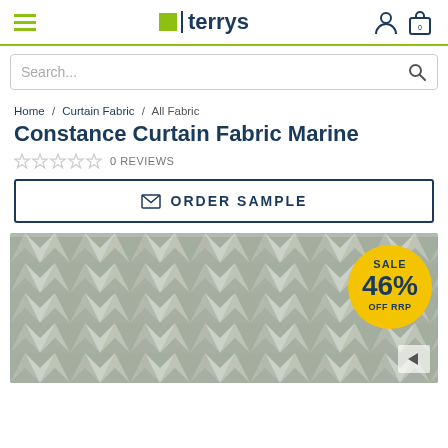terrys
Search...
Home / Curtain Fabric / All Fabric
Constance Curtain Fabric Marine
0 REVIEWS
ORDER SAMPLE
[Figure (photo): Chevron patterned curtain fabric in marine/grey tones with a yellow circular badge showing SALE 46% OFF RRP]